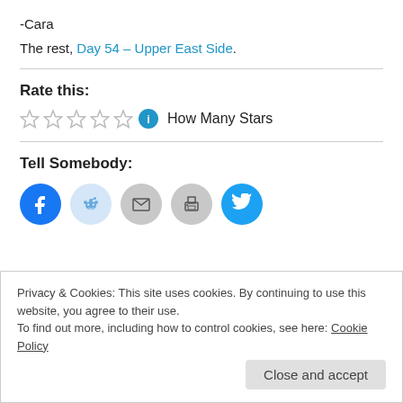-Cara
The rest, Day 54 – Upper East Side.
Rate this:
[Figure (other): Five empty star rating icons followed by an info circle icon and the text 'How Many Stars']
Tell Somebody:
[Figure (other): Social sharing buttons: Facebook, Reddit, Email, Print, Twitter]
Privacy & Cookies: This site uses cookies. By continuing to use this website, you agree to their use.
To find out more, including how to control cookies, see here: Cookie Policy
Close and accept